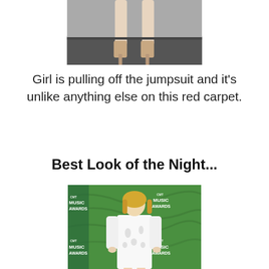[Figure (photo): Cropped photo showing the lower legs and heels of a person standing on a red carpet or dark mat]
Girl is pulling off the jumpsuit and it’s unlike anything else on this red carpet.
Best Look of the Night...
[Figure (photo): Woman in a white embellished long-sleeve mini dress posing at the CMT Music Awards on a green carpet backdrop]